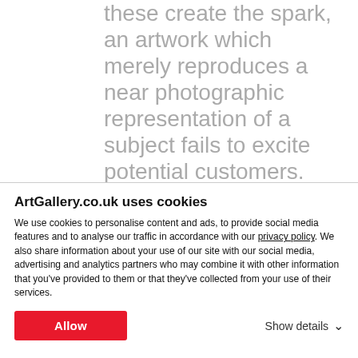these create the spark, an artwork which merely reproduces a near photographic representation of a subject fails to excite potential customers. Most people, these days, have a camera or camera-phone which allows them to capture the
ArtGallery.co.uk uses cookies
We use cookies to personalise content and ads, to provide social media features and to analyse our traffic in accordance with our privacy policy. We also share information about your use of our site with our social media, advertising and analytics partners who may combine it with other information that you've provided to them or that they've collected from your use of their services.
Allow
Show details